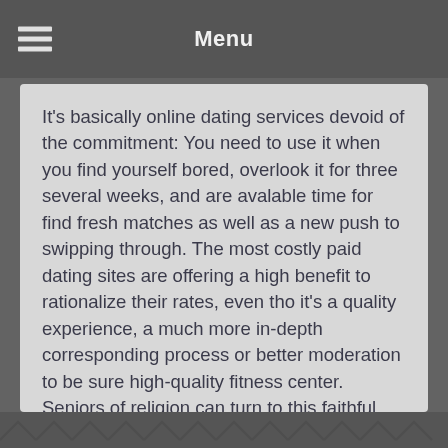Menu
It's basically online dating services devoid of the commitment: You need to use it when you find yourself bored, overlook it for three several weeks, and are avalable time for find fresh matches as well as a new push to swipping through. The most costly paid dating sites are offering a high benefit to rationalize their rates, even tho it's a quality experience, a much more in-depth corresponding process or better moderation to be sure high-quality fitness center. Seniors of religion can turn to this faithful pursuing in order to meet real love who publish similar morals and desired goals in daily life. Unearthing matches could be the crux of the dating web page, and JDate offers a good amount of options.